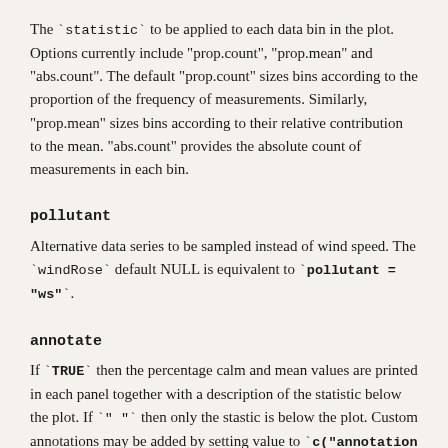The `statistic` to be applied to each data bin in the plot. Options currently include "prop.count", "prop.mean" and "abs.count". The default "prop.count" sizes bins according to the proportion of the frequency of measurements. Similarly, "prop.mean" sizes bins according to their relative contribution to the mean. "abs.count" provides the absolute count of measurements in each bin.
pollutant
Alternative data series to be sampled instead of wind speed. The `windRose` default NULL is equivalent to `pollutant = "ws"`.
annotate
If `TRUE` then the percentage calm and mean values are printed in each panel together with a description of the statistic below the plot. If `" "` then only the stastic is below the plot. Custom annotations may be added by setting value to `c("annotation 1", "annotation 2")`.
angle.scale
The wind speed scale is by default shown at a 315 degree angle. Sometimes the placement of the scale may interfere with an